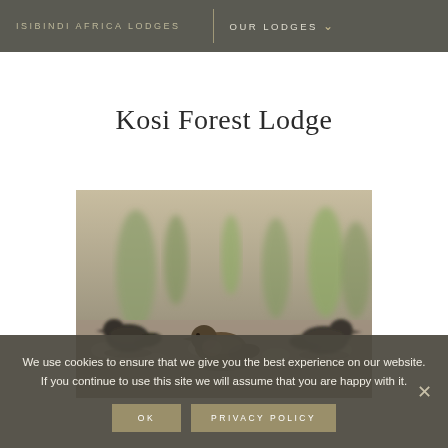ISIBINDI AFRICA LODGES | OUR LODGES
Kosi Forest Lodge
[Figure (photo): Three small dark shorebirds resting on rocky ground with blurred green vegetation in the background]
We use cookies to ensure that we give you the best experience on our website. If you continue to use this site we will assume that you are happy with it.
OK   PRIVACY POLICY